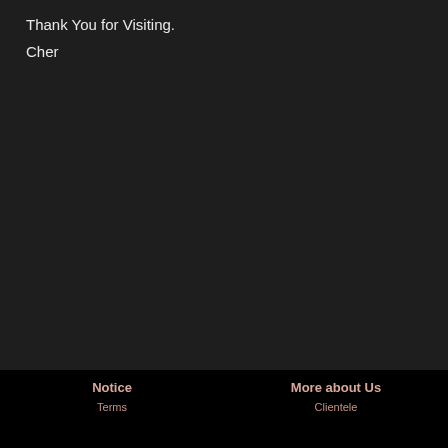Thank You for Visiting.
Cher
Notice | More about Us | Terms | Clientele